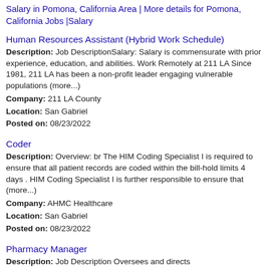Salary in Pomona, California Area | More details for Pomona, California Jobs |Salary
Human Resources Assistant (Hybrid Work Schedule)
Description: Job DescriptionSalary: Salary is commensurate with prior experience, education, and abilities. Work Remotely at 211 LA Since 1981, 211 LA has been a non-profit leader engaging vulnerable populations (more...)
Company: 211 LA County
Location: San Gabriel
Posted on: 08/23/2022
Coder
Description: Overview: br The HIM Coding Specialist I is required to ensure that all patient records are coded within the bill-hold limits 4 days . HIM Coding Specialist I is further responsible to ensure that (more...)
Company: AHMC Healthcare
Location: San Gabriel
Posted on: 08/23/2022
Pharmacy Manager
Description: Job Description Oversees and directs
Company: Costco Wholesale Corporation